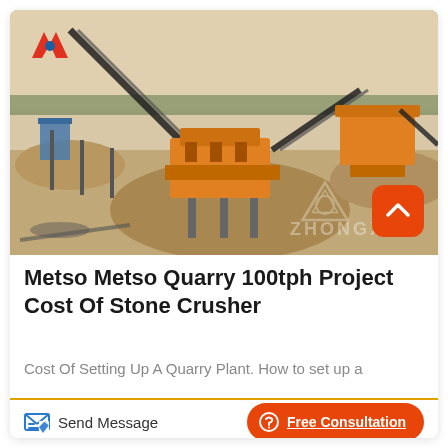[Figure (photo): Outdoor quarry/stone crusher plant with conveyor belts, crushers, and piles of sand/gravel. Yellow machinery visible. ZHONGXIN watermark logo on image.]
Metso Metso Quarry 100tph Project Cost Of Stone Crusher
Cost Of Setting Up A Quarry Plant. How to set up a